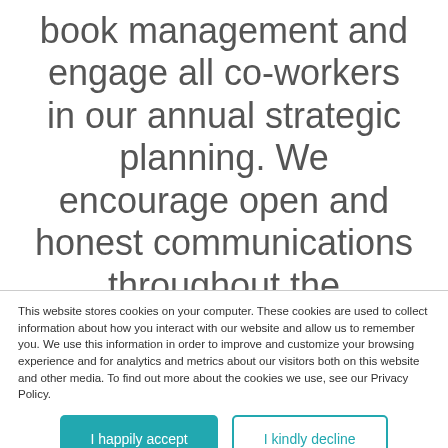book management and engage all co-workers in our annual strategic planning. We encourage open and honest communications throughout the organization. You can question, prod, and disagree with decisions, which makes for a robust planning process. We feel transparency and
This website stores cookies on your computer. These cookies are used to collect information about how you interact with our website and allow us to remember you. We use this information in order to improve and customize your browsing experience and for analytics and metrics about our visitors both on this website and other media. To find out more about the cookies we use, see our Privacy Policy.
I happily accept
I kindly decline